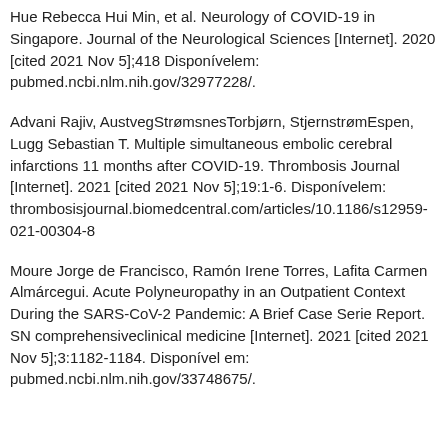Hue Rebecca Hui Min, et al. Neurology of COVID-19 in Singapore. Journal of the Neurological Sciences [Internet]. 2020 [cited 2021 Nov 5];418 Disponívelem: pubmed.ncbi.nlm.nih.gov/32977228/.
Advani Rajiv, AustvegStrømsnesTorbjørn, StjernstrømEspen, Lugg Sebastian T. Multiple simultaneous embolic cerebral infarctions 11 months after COVID-19. Thrombosis Journal [Internet]. 2021 [cited 2021 Nov 5];19:1-6. Disponívelem: thrombosisjournal.biomedcentral.com/articles/10.1186/s12959-021-00304-8
Moure Jorge de Francisco, Ramón Irene Torres, Lafita Carmen Almárcegui. Acute Polyneuropathy in an Outpatient Context During the SARS-CoV-2 Pandemic: A Brief Case Serie Report. SN comprehensiveclinical medicine [Internet]. 2021 [cited 2021 Nov 5];3:1182-1184. Disponível em: pubmed.ncbi.nlm.nih.gov/33748675/.